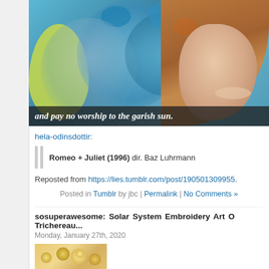[Figure (photo): Two people (a man and a woman with auburn hair) looking at a colorful aquarium display with fish and blue water. White italic text overlay reads: 'and pay no worship to the garish sun.']
hela-odinsdottir:
Romeo + Juliet (1996) dir. Baz Luhrmann
Reposted from https://lies.tumblr.com/post/190501309955.
Posted in Tumblr by jbc | Permalink | No Comments »
sosuperawesome: Solar System Embroidery Art O Trichereau...
Monday, January 27th, 2020
[Figure (photo): Partial image strip at bottom showing what appears to be golden/yellow embroidery or decorative art]